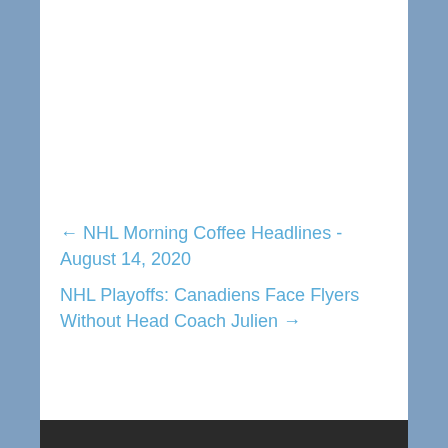← NHL Morning Coffee Headlines - August 14, 2020
NHL Playoffs: Canadiens Face Flyers Without Head Coach Julien →